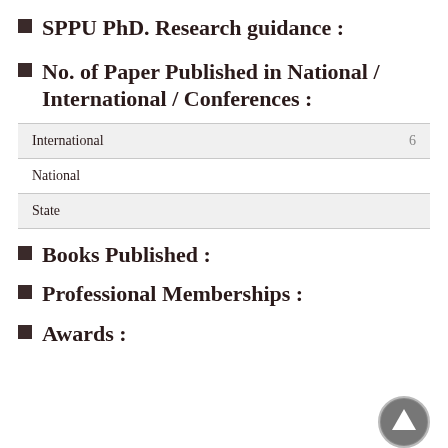SPPU PhD. Research guidance :
No. of Paper Published in National / International / Conferences :
|  |  |
| --- | --- |
| International | 6 |
| National |  |
| State |  |
Books Published :
Professional Memberships :
Awards :